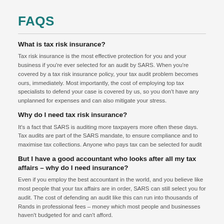FAQS
What is tax risk insurance?
Tax risk insurance is the most effective protection for you and your business if you're ever selected for an audit by SARS. When you're covered by a tax risk insurance policy, your tax audit problem becomes ours, immediately. Most importantly, the cost of employing top tax specialists to defend your case is covered by us, so you don't have any unplanned for expenses and can also mitigate your stress.
Why do I need tax risk insurance?
It's a fact that SARS is auditing more taxpayers more often these days. Tax audits are part of the SARS mandate, to ensure compliance and to maximise tax collections. Anyone who pays tax can be selected for audit
But I have a good accountant who looks after all my tax affairs – why do I need insurance?
Even if you employ the best accountant in the world, and you believe like most people that your tax affairs are in order, SARS can still select you for audit. The cost of defending an audit like this can run into thousands of Rands in professional fees – money which most people and businesses haven't budgeted for and can't afford.